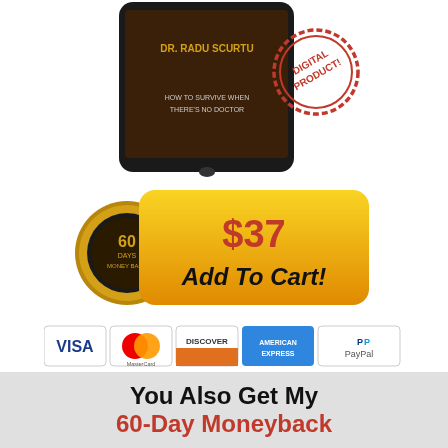[Figure (illustration): Book/tablet cover showing 'DR. RADU SCURTU - HOW TO SURVIVE WHEN THERE'S NO DOCTOR' with a red 'DIGITAL PRODUCT!' stamp overlay]
[Figure (illustration): Orange gradient 'Add To Cart' button with $37 price and a gold 60-day money back guarantee seal on the left]
[Figure (illustration): Payment method icons: VISA, MasterCard, DISCOVER, AMERICAN EXPRESS, PayPal]
And that's not all, because...
You Also Get My 60-Day Moneyback